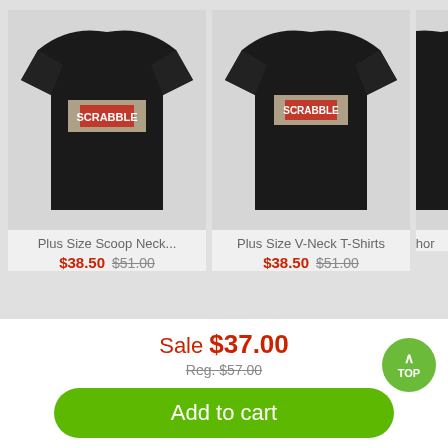[Figure (photo): Black plus size scoop neck t-shirt with Scrabble logo on light grey background]
Plus Size Scoop Neck...
$38.50 $51.00
[Figure (photo): Black plus size v-neck t-shirt with Scrabble logo on light grey background]
Plus Size V-Neck T-Shirts
$38.50 $51.00
[Figure (photo): Partially visible black t-shirt on grey background]
Shor
Product Details
Men's Comfort Colors® T-Shirts
Sale $37.00
Reg. $57.00
Add to cart